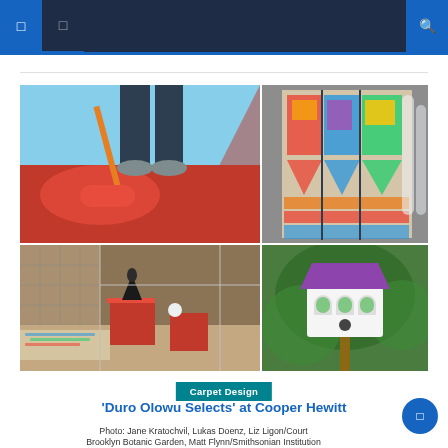Navigation bar with icons
[Figure (photo): Collage of four photos: top-left shows someone using a red paint roller on a floor with bold graphic design; top-right shows colorful stained glass windows; bottom-left shows an interior art installation with red furniture and a black sculptural form; bottom-right shows a white and purple birdhouse-like structure outdoors.]
Carpet Design
'Duro Olowu Selects' at Cooper Hewitt
Photo: Jane Kratochvil, Lukas Doenz, Liz Ligon/Courtesy Brooklyn Botanic Garden, Matt Flynn/Smithsonian Institution